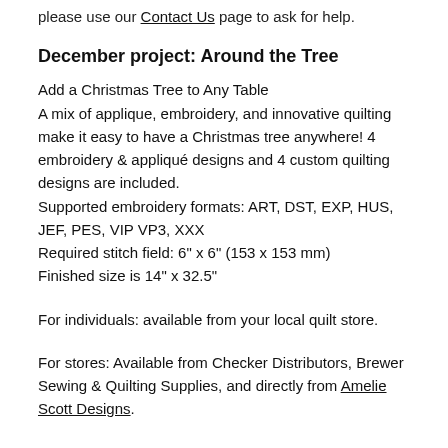please use our Contact Us page to ask for help.
December project: Around the Tree
Add a Christmas Tree to Any Table
A mix of applique, embroidery, and innovative quilting make it easy to have a Christmas tree anywhere! 4 embroidery & appliqué designs and 4 custom quilting designs are included.
Supported embroidery formats: ART, DST, EXP, HUS, JEF, PES, VIP VP3, XXX
Required stitch field: 6" x 6" (153 x 153 mm)
Finished size is 14" x 32.5"
For individuals: available from your local quilt store.
For stores: Available from Checker Distributors, Brewer Sewing & Quilting Supplies, and directly from Amelie Scott Designs.